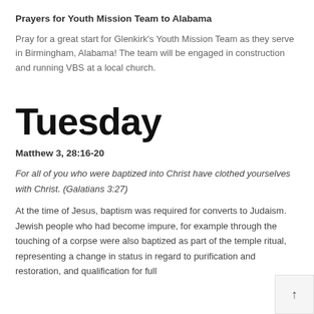Prayers for Youth Mission Team to Alabama
Pray for a great start for Glenkirk’s Youth Mission Team as they serve in Birmingham, Alabama! The team will be engaged in construction and running VBS at a local church.
Tuesday
Matthew 3, 28:16-20
For all of you who were baptized into Christ have clothed yourselves with Christ. (Galatians 3:27)
At the time of Jesus, baptism was required for converts to Judaism. Jewish people who had become impure, for example through the touching of a corpse were also baptized as part of the temple ritual, representing a change in status in regard to purification and restoration, and qualification for full